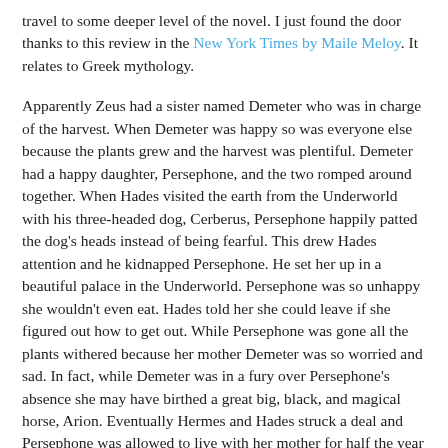travel to some deeper level of the novel. I just found the door thanks to this review in the New York Times by Maile Meloy. It relates to Greek mythology.
Apparently Zeus had a sister named Demeter who was in charge of the harvest. When Demeter was happy so was everyone else because the plants grew and the harvest was plentiful. Demeter had a happy daughter, Persephone, and the two romped around together. When Hades visited the earth from the Underworld with his three-headed dog, Cerberus, Persephone happily patted the dog's heads instead of being fearful. This drew Hades attention and he kidnapped Persephone. He set her up in a beautiful palace in the Underworld. Persephone was so unhappy she wouldn't even eat. Hades told her she could leave if she figured out how to get out. While Persephone was gone all the plants withered because her mother Demeter was so worried and sad. In fact, while Demeter was in a fury over Persephone's absence she may have birthed a great big, black, and magical horse, Arion. Eventually Hermes and Hades struck a deal and Persephone was allowed to live with her mother for half the year and the other half with